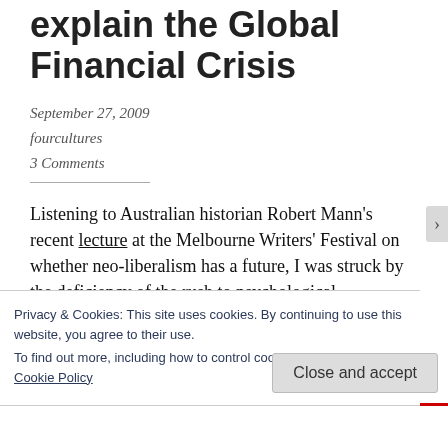explain the Global Financial Crisis
September 27, 2009
fourcultures
3 Comments
Listening to Australian historian Robert Mann's recent lecture at the Melbourne Writers' Festival on whether neo-liberalism has a future, I was struck by the deficiency of the rush to psychological
Privacy & Cookies: This site uses cookies. By continuing to use this website, you agree to their use.
To find out more, including how to control cookies, see here: Cookie Policy
Close and accept